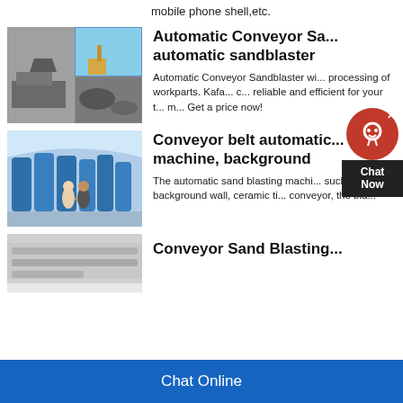mobile phone shell,etc.
Automatic Conveyor Sa... automatic sandblaster
[Figure (photo): Construction site with excavators and rubble, collage of outdoor scenes]
Automatic Conveyor Sandblaster wi... processing of workparts. Kafa... c... reliable and efficient for your t... m... Get a price now!
Conveyor belt automatic... machine, background
[Figure (photo): Factory interior with large blue industrial tanks and workers shaking hands]
The automatic sand blasting machi... such as background wall, ceramic ti... conveyor, the bla...
Conveyor Sand Blasting...
[Figure (photo): Conveyor sandblasting machine partial view]
Chat Online